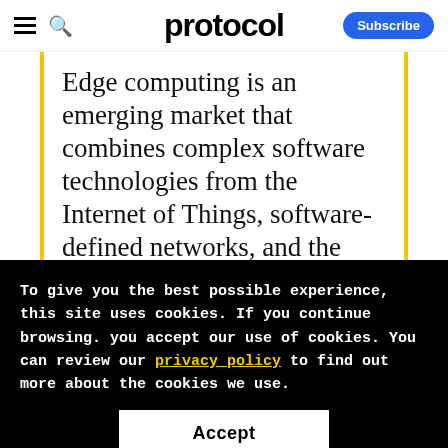protocol | Subscribe
Edge computing is an emerging market that combines complex software technologies from the Internet of Things, software-defined networks, and the Cloud; thus, a simplified developer experience and faster response time are
To give you the best possible experience, this site uses cookies. If you continue browsing. you accept our use of cookies. You can review our privacy policy to find out more about the cookies we use.
Accept